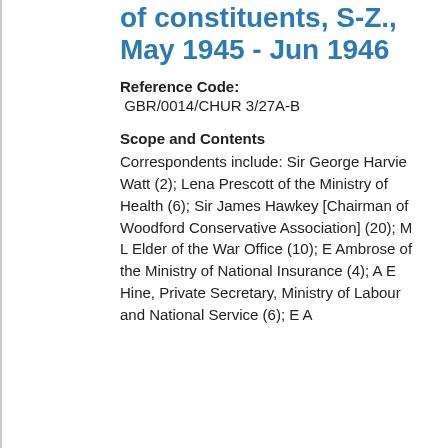of constituents, S-Z., May 1945 - Jun 1946
Reference Code: GBR/0014/CHUR 3/27A-B
Scope and Contents
Correspondents include: Sir George Harvie Watt (2); Lena Prescott of the Ministry of Health (6); Sir James Hawkey [Chairman of Woodford Conservative Association] (20); M L Elder of the War Office (10); E Ambrose of the Ministry of National Insurance (4); A E Hine, Private Secretary, Ministry of Labour and National Service (6); E A